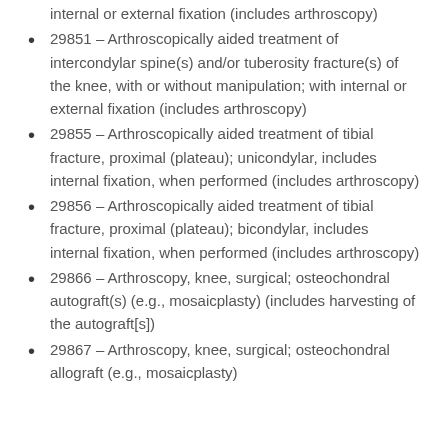internal or external fixation (includes arthroscopy)
29851 – Arthroscopically aided treatment of intercondylar spine(s) and/or tuberosity fracture(s) of the knee, with or without manipulation; with internal or external fixation (includes arthroscopy)
29855 – Arthroscopically aided treatment of tibial fracture, proximal (plateau); unicondylar, includes internal fixation, when performed (includes arthroscopy)
29856 – Arthroscopically aided treatment of tibial fracture, proximal (plateau); bicondylar, includes internal fixation, when performed (includes arthroscopy)
29866 – Arthroscopy, knee, surgical; osteochondral autograft(s) (e.g., mosaicplasty) (includes harvesting of the autograft[s])
29867 – Arthroscopy, knee, surgical; osteochondral allograft (e.g., mosaicplasty)